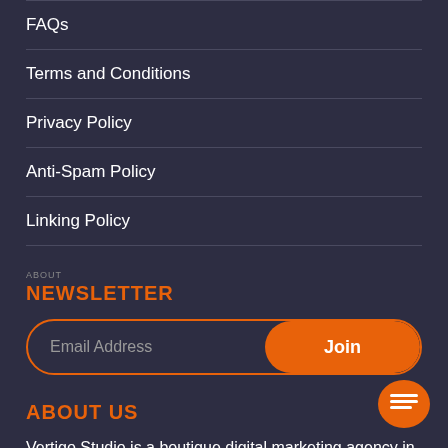FAQs
Terms and Conditions
Privacy Policy
Anti-Spam Policy
Linking Policy
NEWSLETTER
Email Address
Join
ABOUT US
Vertigo Studio is a boutique digital marketing agency in Malta and UK that design, codes and delivers digital marketing solution, gives you peace of mind in visualising yours ideas.